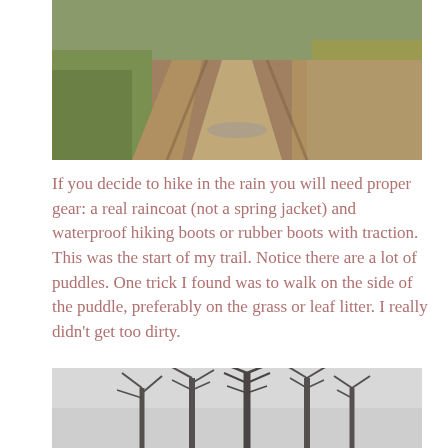[Figure (photo): A muddy dirt trail with tire tracks, surrounded by green grass and fallen leaves.]
If you decide to hike in the rain you will need proper gear: a real raincoat (not a spring jacket) and waterproof hiking boots or rubber boots with traction.
This was the start of my trail. Notice there are a lot of puddles. One trick I found was to walk on the side of the puddle, preferably on the grass or leaf litter. I really didn’t get too dirty.
[Figure (photo): Bare winter trees with no leaves against a grey overcast sky, misty background.]